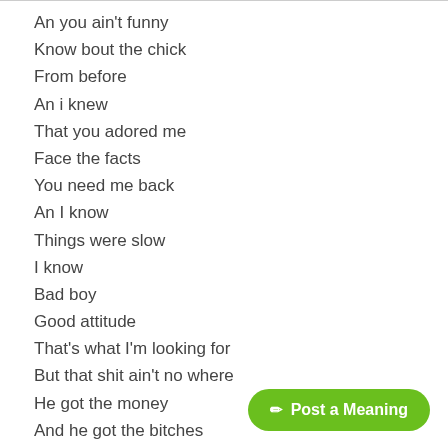An you ain't funny
Know bout the chick
From before
An i knew
That you adored me
Face the facts
You need me back
An I know
Things were slow
I know
Bad boy
Good attitude
That's what I'm looking for
But that shit ain't no where
He got the money
And he got the bitches